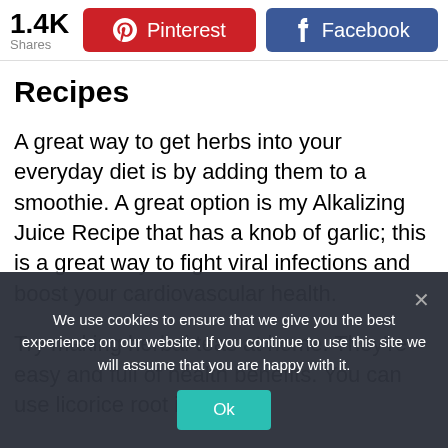1.4K Shares  Pinterest  Facebook
Recipes
A great way to get herbs into your everyday diet is by adding them to a smoothie. A great option is my Alkalizing Juice Recipe that has a knob of garlic; this is a great way to fight viral infections and boost your cardiovascular health.
Try making herbal teas at home. They’re easy and full of health benefits. You can use licorice root in
We use cookies to ensure that we give you the best experience on our website. If you continue to use this site we will assume that you are happy with it.